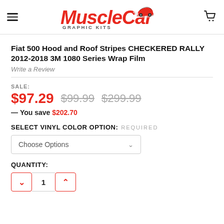MuscleCar GRAPHIC KITS
Fiat 500 Hood and Roof Stripes CHECKERED RALLY 2012-2018 3M 1080 Series Wrap Film
Write a Review
SALE: $97.29  $99.99  $299.99
— You save $202.70
SELECT VINYL COLOR OPTION: REQUIRED
Choose Options
QUANTITY:
1